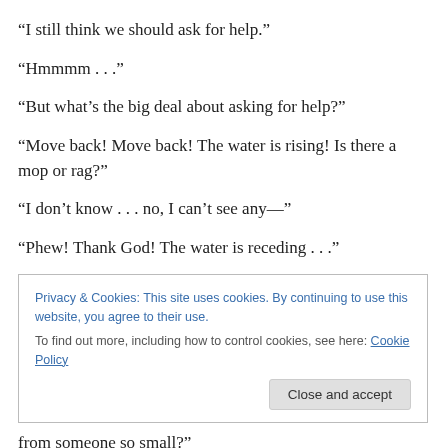“I still think we should ask for help.”
“Hmmmm . . .”
“But what’s the big deal about asking for help?”
“Move back! Move back! The water is rising! Is there a mop or rag?”
“I don’t know . . . no, I can’t see any—”
“Phew! Thank God! The water is receding . . .”
Privacy & Cookies: This site uses cookies. By continuing to use this website, you agree to their use. To find out more, including how to control cookies, see here: Cookie Policy
from someone so small?”